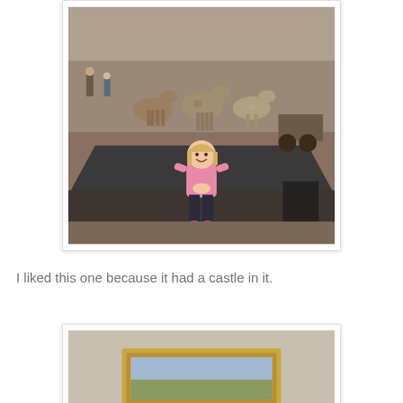[Figure (photo): A young girl in a pink hoodie and dark pants with pink shoes standing in a museum in front of a large dark display platform with horse sculptures/statues on it. Museum interior visible in background with other visitors.]
I liked this one because it had a castle in it.
[Figure (photo): Partial view of a framed painting on a beige/cream museum wall, showing the bottom portion of a gold frame with what appears to be a landscape painting inside.]